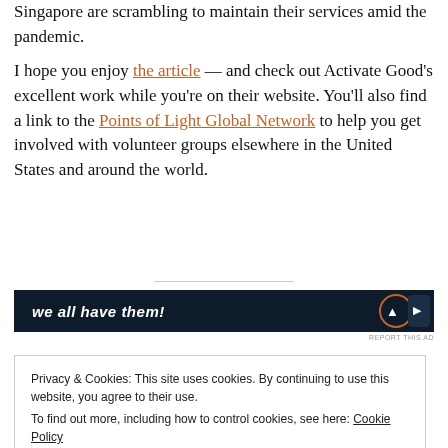Singapore are scrambling to maintain their services amid the pandemic.
I hope you enjoy the article — and check out Activate Good's excellent work while you're on their website. You'll also find a link to the Points of Light Global Network to help you get involved with volunteer groups elsewhere in the United States and around the world.
[Figure (other): Dark navy advertisement banner with text 'we all have them!' in bold italic white font and a circular icon graphic on the right.]
REPORT THIS AD
Privacy & Cookies: This site uses cookies. By continuing to use this website, you agree to their use. To find out more, including how to control cookies, see here: Cookie Policy
Close and accept